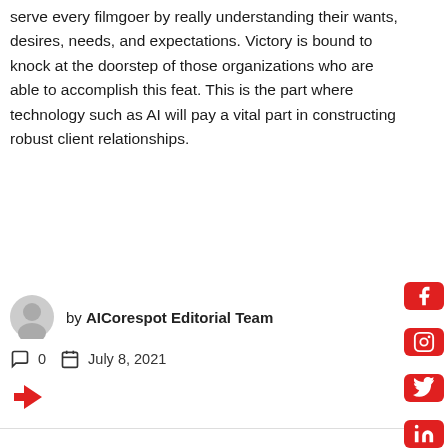serve every filmgoer by really understanding their wants, desires, needs, and expectations. Victory is bound to knock at the doorstep of those organizations who are able to accomplish this feat. This is the part where technology such as AI will pay a vital part in constructing robust client relationships.
by AICorespot Editorial Team
0   July 8, 2021
[Figure (other): Share icon (red arrow/chevron pointing left)]
[Figure (other): Social media sidebar with Facebook, Instagram, Twitter, LinkedIn icons on red square buttons]